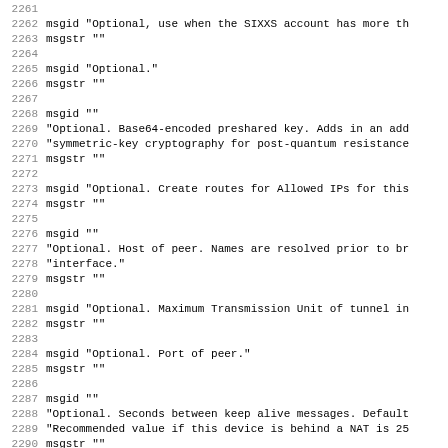Code listing lines 2261-2292, showing gettext msgid/msgstr entries for WireGuard configuration options
2261 (blank)
2262 msgid "Optional, use when the SIXXS account has more th
2263 msgstr ""
2264 (blank)
2265 msgid "Optional."
2266 msgstr ""
2267 (blank)
2268 msgid ""
2269 "Optional. Base64-encoded preshared key. Adds in an add
2270 "symmetric-key cryptography for post-quantum resistance
2271 msgstr ""
2272 (blank)
2273 msgid "Optional. Create routes for Allowed IPs for this
2274 msgstr ""
2275 (blank)
2276 msgid ""
2277 "Optional. Host of peer. Names are resolved prior to br
2278 "interface."
2279 msgstr ""
2280 (blank)
2281 msgid "Optional. Maximum Transmission Unit of tunnel in
2282 msgstr ""
2283 (blank)
2284 msgid "Optional. Port of peer."
2285 msgstr ""
2286 (blank)
2287 msgid ""
2288 "Optional. Seconds between keep alive messages. Default
2289 "Recommended value if this device is behind a NAT is 25
2290 msgstr ""
2291 (blank)
2292 msgid "Optional. UDP port used for outgoing and incomin
2293 msgstr ""